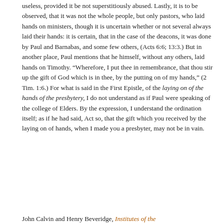useless, provided it be not superstitiously abused. Lastly, it is to be observed, that it was not the whole people, but only pastors, who laid hands on ministers, though it is uncertain whether or not several always laid their hands: it is certain, that in the case of the deacons, it was done by Paul and Barnabas, and some few others, (Acts 6:6; 13:3.) But in another place, Paul mentions that he himself, without any others, laid hands on Timothy. “Wherefore, I put thee in remembrance, that thou stir up the gift of God which is in thee, by the putting on of my hands,” (2 Tim. 1:6.) For what is said in the First Epistle, of the laying on of the hands of the presbytery, I do not understand as if Paul were speaking of the college of Elders. By the expression, I understand the ordination itself; as if he had said, Act so, that the gift which you received by the laying on of hands, when I made you a presbyter, may not be in vain.
John Calvin and Henry Beveridge, Institutes of the